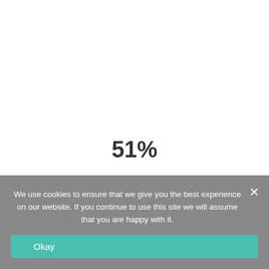51%
We use cookies to ensure that we give you the best experience on our website. If you continue to use this site we will assume that you are happy with it.
Okay